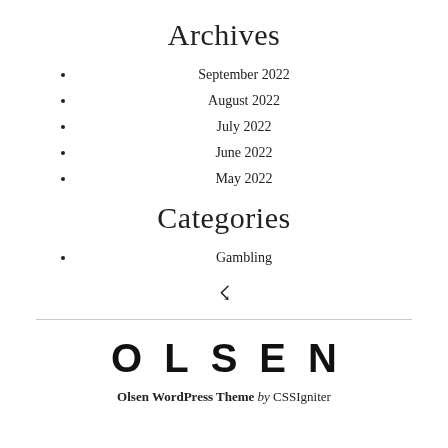Archives
September 2022
August 2022
July 2022
June 2022
May 2022
Categories
Gambling
RSS icon
OLSEN — Olsen WordPress Theme by CSSIgniter